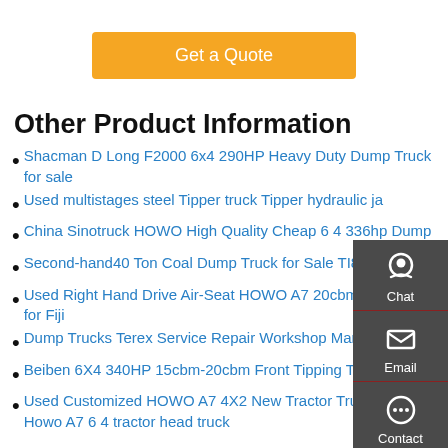[Figure (other): Orange 'Get a Quote' button]
Other Product Information
Shacman D Long F2000 6x4 290HP Heavy Duty Dump Truck for sale
Used multistages steel Tipper truck Tipper hydraulic ja
China Sinotruck HOWO High Quality Cheap 6 4 336hp Dump
Second-hand40 Ton Coal Dump Truck for Sale TI853 Factory
Used Right Hand Drive Air-Seat HOWO A7 20cbm Tipper Truck for Fiji
Dump Trucks Terex Service Repair Workshop Manuals
Beiben 6X4 340HP 15cbm-20cbm Front Tipping Tipper Truck
Used Customized HOWO A7 4X2 New Tractor Truck for 420hp Howo A7 6 4 tractor head truck
[Figure (infographic): Sidebar with Chat, Email, Contact, and Top navigation icons on dark grey background]